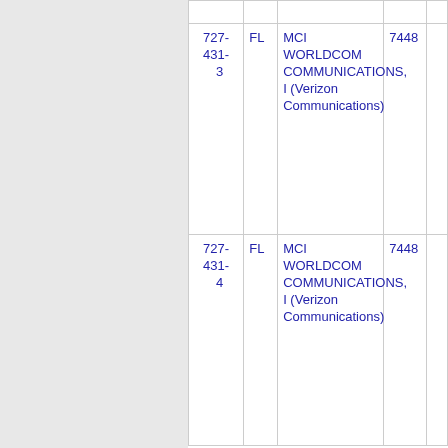| Phone | State | Company | Number |  |
| --- | --- | --- | --- | --- |
| 727-431-3 | FL | MCI WORLDCOM COMMUNICATIONS, I (Verizon Communications) | 7448 |  |
| 727-431-4 | FL | MCI WORLDCOM COMMUNICATIONS, I (Verizon Communications) | 7448 |  |